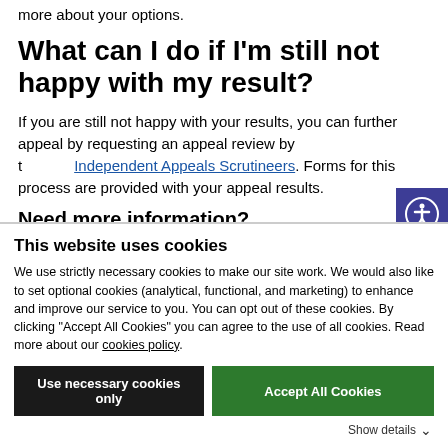more about your options.
What can I do if I'm still not happy with my result?
If you are still not happy with your results, you can further appeal by requesting an appeal review by the Independent Appeals Scrutineers. Forms for this process are provided with your appeal results.
Need more information?
This website uses cookies
We use strictly necessary cookies to make our site work. We would also like to set optional cookies (analytical, functional, and marketing) to enhance and improve our service to you. You can opt out of these cookies. By clicking "Accept All Cookies" you can agree to the use of all cookies. Read more about our cookies policy.